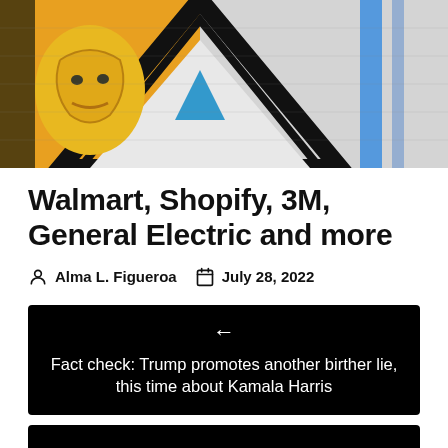[Figure (photo): Graffiti mural on a brick wall featuring a yellow face and geometric shapes in yellow, white, black, and blue]
Walmart, Shopify, 3M, General Electric and more
Alma L. Figueroa   July 28, 2022
← Fact check: Trump promotes another birther lie, this time about Kamala Harris
→